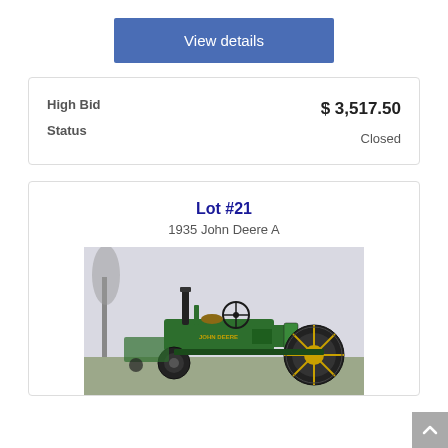View details
| High Bid | $ 3,517.50 |
| Status | Closed |
Lot #21
1935 John Deere A
[Figure (photo): Photo of a 1935 John Deere A tractor, green body with yellow wheels, parked on grass in a foggy outdoor setting]